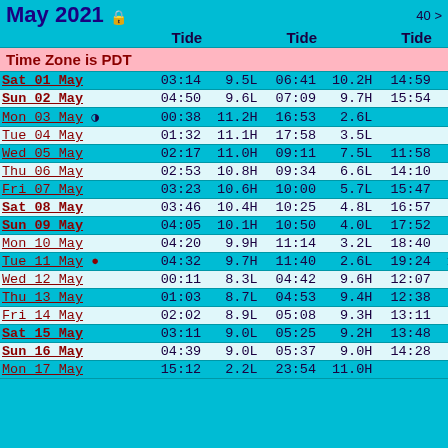May 2021
| Day | Tide |  | Tide |  | Tide |  |
| --- | --- | --- | --- | --- | --- | --- |
| Sat 01 May | 03:14 | 9.5L | 06:41 | 10.2H | 14:59 | 1.0H |
| Sun 02 May | 04:50 | 9.6L | 07:09 | 9.7H | 15:54 | 1.7L |
| Mon 03 May ◑ | 00:38 | 11.2H | 16:53 | 2.6L |  |  |
| Tue 04 May | 01:32 | 11.1H | 17:58 | 3.5L |  |  |
| Wed 05 May | 02:17 | 11.0H | 09:11 | 7.5L | 11:58 | 7.7H |
| Thu 06 May | 02:53 | 10.8H | 09:34 | 6.6L | 14:10 | 7.6H |
| Fri 07 May | 03:23 | 10.6H | 10:00 | 5.7L | 15:47 | 8.0H |
| Sat 08 May | 03:46 | 10.4H | 10:25 | 4.8L | 16:57 | 8.6H |
| Sun 09 May | 04:05 | 10.1H | 10:50 | 4.0L | 17:52 | 9.1H |
| Mon 10 May | 04:20 | 9.9H | 11:14 | 3.2L | 18:40 | 9.6H |
| Tue 11 May ● | 04:32 | 9.7H | 11:40 | 2.6L | 19:24 | 10.0H |
| Wed 12 May | 00:11 | 8.3L | 04:42 | 9.6H | 12:07 | 2.1L |
| Thu 13 May | 01:03 | 8.7L | 04:53 | 9.4H | 12:38 | 1.8L |
| Fri 14 May | 02:02 | 8.9L | 05:08 | 9.3H | 13:11 | 1.7L |
| Sat 15 May | 03:11 | 9.0L | 05:25 | 9.2H | 13:48 | 1.7L |
| Sun 16 May | 04:39 | 9.0L | 05:37 | 9.0H | 14:28 | 1.9L |
| Mon 17 May | 15:12 | 2.2L | 23:54 | 11.0H |  |  |